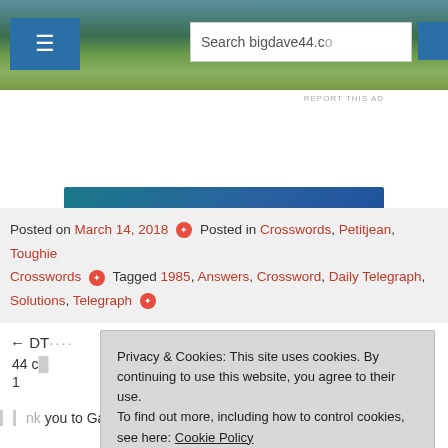[Figure (screenshot): Website header with landscape photo background, hamburger menu button on left, search bar reading 'Search bigdave44.co']
[Figure (screenshot): WordPress.com advertisement banner with pink 'Build Your Website' button and WordPress.com logo on dark blue background]
Posted on March 14, 2018 ✦ Posted in Crosswords, Petitjean, Toughie Crosswords ✦ Tagged 1985, Answers, Crossword, Daily Telegraph, Solutions, Telegraph ✦
DT ←  → 44 c... 1
Privacy & Cookies: This site uses cookies. By continuing to use this website, you agree to their use. To find out more, including how to control cookies, see here: Cookie Policy
Close and accept
...nk you to Gazza too – my thoughts on 26a matched yours